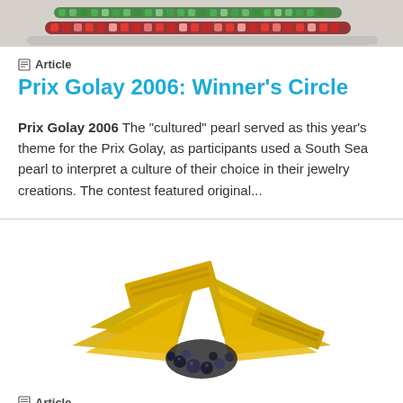[Figure (photo): Close-up photo of colorful gemstone-encrusted rings or bracelets with green, red, and multicolor stones on a light background]
Article
Prix Golay 2006: Winner's Circle
Prix Golay 2006 The “cultured” pearl served as this year’s theme for the Prix Golay, as participants used a South Sea pearl to interpret a culture of their choice in their jewelry creations. The contest featured original...
[Figure (photo): Photo of a gold jewelry piece shaped like a butterfly or bird with gold bars as wings, accented with dark pearls at the base]
Article